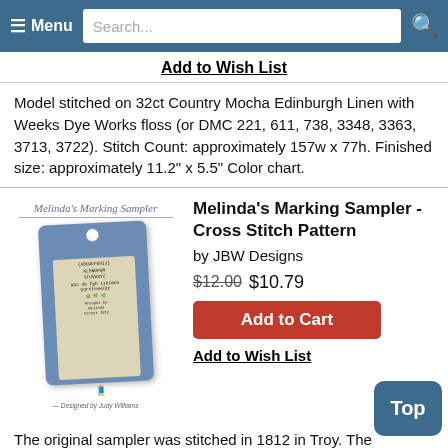Menu  Search...
Add to Wish List
Model stitched on 32ct Country Mocha Edinburgh Linen with Weeks Dye Works floss (or DMC 221, 611, 738, 3348, 3363, 3713, 3722). Stitch Count: approximately 157w x 77h. Finished size: approximately 11.2" x 5.5" Color chart.
[Figure (photo): Product image of Melinda's Marking Sampler cross stitch pattern showing a blue tag with sampler stitching]
Melinda's Marking Sampler - Cross Stitch Pattern by JBW Designs
$12.00 $10.79
Add to Cart
Add to Wish List
The original sampler was stitched in 1812 in Troy. The reproduction model was stitched on an Antique